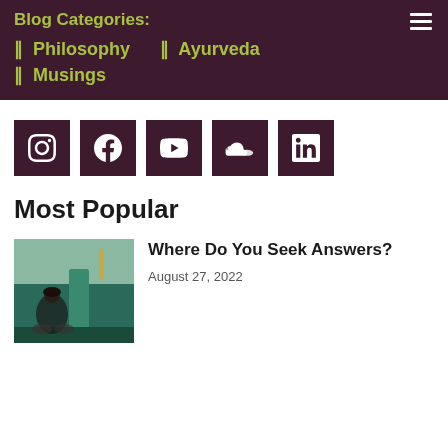Blog Categories:
|| Philosophy   || Ayurveda
|| Musings
[Figure (infographic): Row of 5 social media icon buttons (Instagram, Facebook, YouTube, SoundCloud, LinkedIn) with dark maroon backgrounds and white icons]
Most Popular
[Figure (photo): Person sitting cross-legged in a teal/green room with gold accent details on wall]
Where Do You Seek Answers?
August 27, 2022